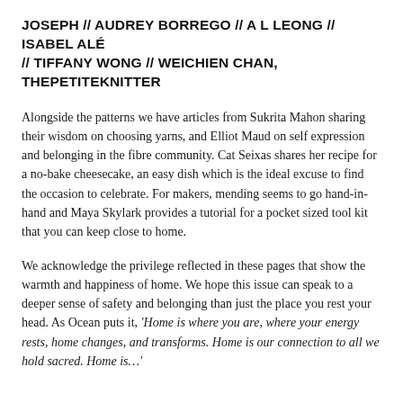JOSEPH // AUDREY BORREGO // A L LEONG // ISABEL ALÉ // TIFFANY WONG // WEICHIEN CHAN, THEPETITEKNITTER
Alongside the patterns we have articles from Sukrita Mahon sharing their wisdom on choosing yarns, and Elliot Maud on self expression and belonging in the fibre community. Cat Seixas shares her recipe for a no-bake cheesecake, an easy dish which is the ideal excuse to find the occasion to celebrate. For makers, mending seems to go hand-in-hand and Maya Skylark provides a tutorial for a pocket sized tool kit that you can keep close to home.
We acknowledge the privilege reflected in these pages that show the warmth and happiness of home. We hope this issue can speak to a deeper sense of safety and belonging than just the place you rest your head. As Ocean puts it, 'Home is where you are, where your energy rests, home changes, and transforms. Home is our connection to all we hold sacred. Home is…'